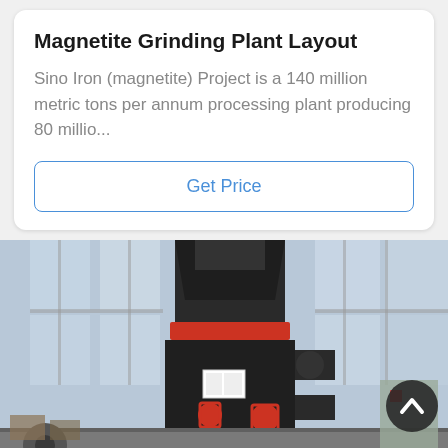Magnetite Grinding Plant Layout
Sino Iron (magnetite) Project is a 140 million metric tons per annum processing plant producing 80 millio...
Get Price
[Figure (photo): Industrial grinding mill machine, large black cylindrical equipment with red band ring, white label, red valves and pipe fittings, photographed indoors in a factory/warehouse setting with large windows]